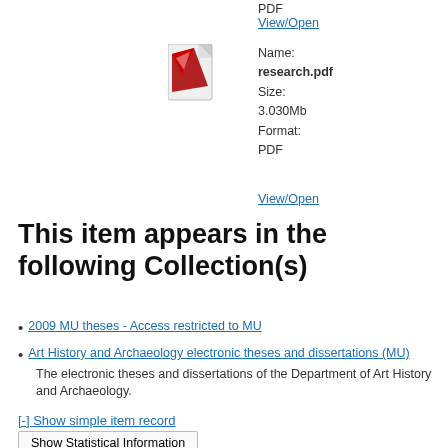PDF
View/Open
[Figure (other): PDF file icon with red and white design labeled PDF]
Name: research.pdf
Size: 3.030Mb
Format: PDF
View/Open
This item appears in the following Collection(s)
2009 MU theses - Access restricted to MU
Art History and Archaeology electronic theses and dissertations (MU)
The electronic theses and dissertations of the Department of Art History and Archaeology.
[-] Show simple item record
Show Statistical Information